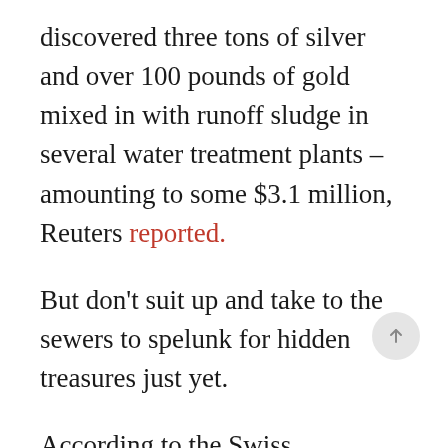discovered three tons of silver and over 100 pounds of gold mixed in with runoff sludge in several water treatment plants – amounting to some $3.1 million, Reuters reported.
But don't suit up and take to the sewers to spelunk for hidden treasures just yet.
According to the Swiss government study, the metals were only found in trace amounts, and likely originated from the nation's watchmaking,